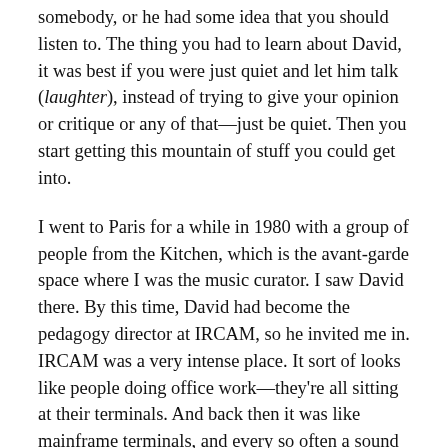somebody, or he had some idea that you should listen to. The thing you had to learn about David, it was best if you were just quiet and let him talk (laughter), instead of trying to give your opinion or critique or any of that—just be quiet. Then you start getting this mountain of stuff you could get into.
I went to Paris for a while in 1980 with a group of people from the Kitchen, which is the avant-garde space where I was the music curator. I saw David there. By this time, David had become the pedagogy director at IRCAM, so he invited me in. IRCAM was a very intense place. It sort of looks like people doing office work—they're all sitting at their terminals. And back then it was like mainframe terminals, and every so often a sound would come in. Someone would be working on a sound for three days and they'd play it for the whole